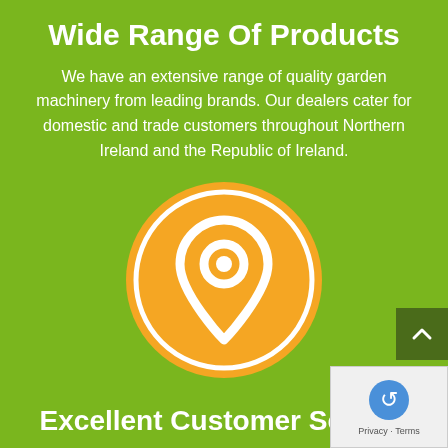Wide Range Of Products
We have an extensive range of quality garden machinery from leading brands. Our dealers cater for domestic and trade customers throughout Northern Ireland and the Republic of Ireland.
[Figure (illustration): Orange circle containing a white location pin / map marker icon on a green background]
Excellent Customer Service
When it comes to taking care of your lawn, we know how important it is to have the right tools. We provide parts, servicing and repairs to keep them going season